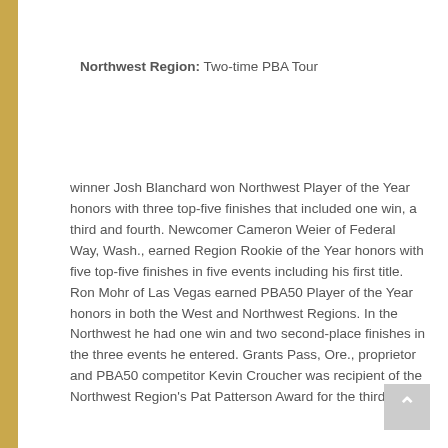Northwest Region: Two-time PBA Tour
winner Josh Blanchard won Northwest Player of the Year honors with three top-five finishes that included one win, a third and fourth. Newcomer Cameron Weier of Federal Way, Wash., earned Region Rookie of the Year honors with five top-five finishes in five events including his first title. Ron Mohr of Las Vegas earned PBA50 Player of the Year honors in both the West and Northwest Regions. In the Northwest he had one win and two second-place finishes in the three events he entered. Grants Pass, Ore., proprietor and PBA50 competitor Kevin Croucher was recipient of the Northwest Region's Pat Patterson Award for the third time.